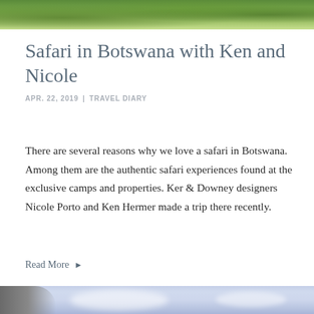[Figure (photo): Top portion of a nature/safari photo showing green tree foliage]
Safari in Botswana with Ken and Nicole
APR. 22, 2019  |  TRAVEL DIARY
There are several reasons why we love a safari in Botswana. Among them are the authentic safari experiences found at the exclusive camps and properties. Ker & Downey designers Nicole Porto and Ken Hermer made a trip there recently.
Read More ▶
[Figure (photo): Bottom portion of another photo showing misty mountain landscape with blue/purple hues and rocky foreground]